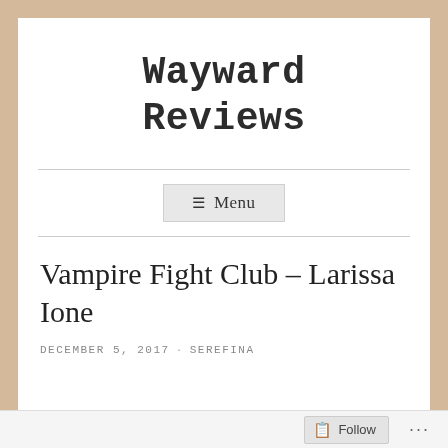Wayward Reviews
Menu
Vampire Fight Club – Larissa Ione
DECEMBER 5, 2017 · SEREFINA
Follow